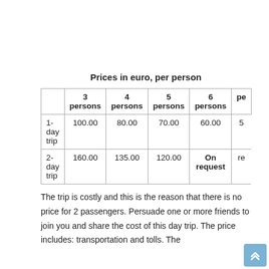Prices in euro, per person
|  | 3 persons | 4 persons | 5 persons | 6 persons | pe |
| --- | --- | --- | --- | --- | --- |
| 1-day trip | 100.00 | 80.00 | 70.00 | 60.00 | 5 |
| 2-day trip | 160.00 | 135.00 | 120.00 | On request | re |
The trip is costly and this is the reason that there is no price for 2 passengers. Persuade one or more friends to join you and share the cost of this day trip. The price includes: transportation and tolls. The